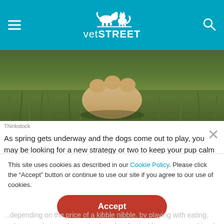vetSTREET
[Figure (photo): Close-up photo of a dog's paw on grass, golden fur visible against green grass background]
Thinkstock
As spring gets underway and the dogs come out to play, you may be looking for a new strategy or two to keep your pup calm and content. Nothing beats the old saying “a tired dog is a happy dog.” And as the days lengthen, you’ll have more sunny hours for cavorting — and exercising — outdoors with your pup. But here are five other ways to help your dog get his inner Dalai Zen on.
Make Meals More Fun
This site uses cookies as described in our Cookie Policy. Please click the "Accept" button or continue to use our site if you agree to our use of cookies.
Accept
...and depending on the price of a kibble nibble, by playing with eating, and games that combine the stimulate the physical hunger — combined with the big investment of Shown